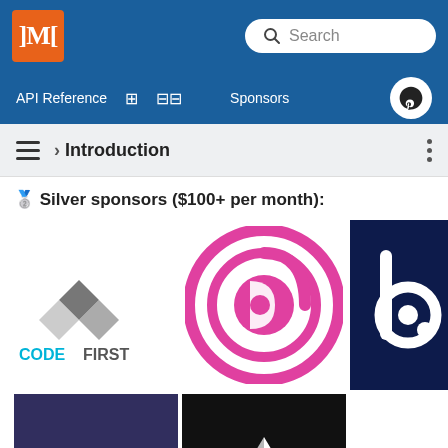]M[ Search
API Reference  Sponsors
› Introduction
🥈 Silver sponsors ($100+ per month):
[Figure (logo): CODEFIRST logo with angular diamond shape in grey, text in cyan]
[Figure (logo): Orbit/circular logo in magenta/pink on white]
[Figure (logo): Letter b logo in white on dark navy background]
[Figure (logo): Curology text logo in white on dark purple background]
[Figure (logo): Geometric M logo made of triangles in white on black background]
[Figure (logo): ~/.space307 text logo in cyan/teal]
[Figure (logo): Partial blue logo with white C letter, cut off at bottom]